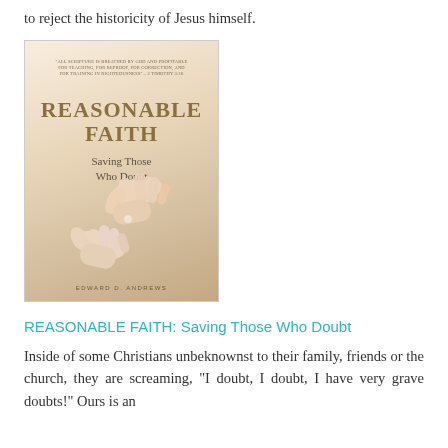to reject the historicity of Jesus himself.
[Figure (photo): Book cover of 'REASONABLE FAITH: Saving Those Who Doubt' by Edward D. Andrews. Features two hands reaching toward each other against a warm beige/peach background, with a scripture quote at the top.]
REASONABLE FAITH: Saving Those Who Doubt
Inside of some Christians unbeknownst to their family, friends or the church, they are screaming, "I doubt, I doubt, I have very grave doubts!" Ours is an